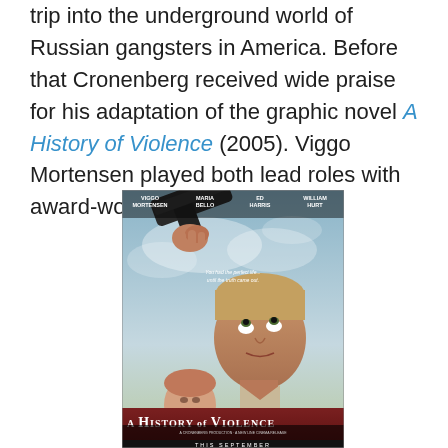trip into the underground world of Russian gangsters in America. Before that Cronenberg received wide praise for his adaptation of the graphic novel A History of Violence (2005). Viggo Mortensen played both lead roles with award-worthy aplomb.
[Figure (photo): Movie poster for 'A History of Violence' (2005) featuring Viggo Mortensen looking upward at a gun pointed at his head, with a woman visible behind him. Cast names at top: Viggo Mortensen, Maria Bello, Ed Harris, William Hurt. Title banner at bottom reads 'A History of Violence'. Tagline text visible in the middle. 'This September' text at the bottom.]